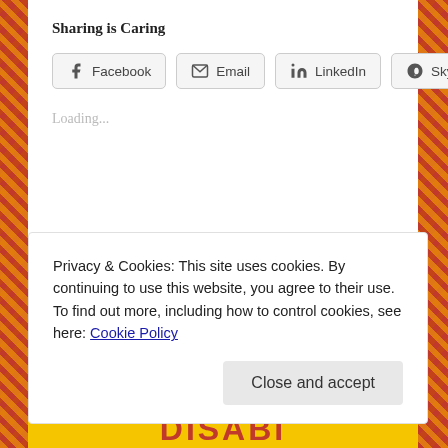Sharing is Caring
[Figure (other): Social sharing buttons: Facebook, Email, LinkedIn, Skype]
Loading...
Searching All Over the Place
Privacy & Cookies: This site uses cookies. By continuing to use this website, you agree to their use.
To find out more, including how to control cookies, see here: Cookie Policy